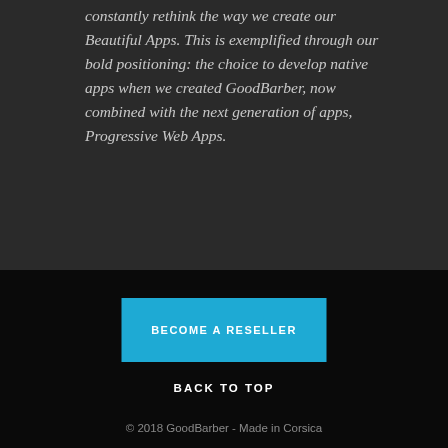constantly rethink the way we create our Beautiful Apps. This is exemplified through our bold positioning: the choice to develop native apps when we created GoodBarber, now combined with the next generation of apps, Progressive Web Apps.
BECOME A RESELLER
BACK TO TOP
© 2018 GoodBarber - Made in Corsica